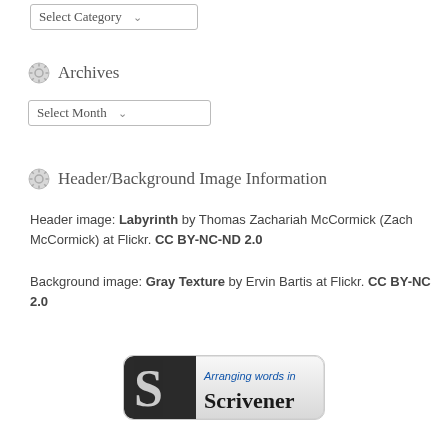[Figure (screenshot): Select Category dropdown box]
Archives
[Figure (screenshot): Select Month dropdown box]
Header/Background Image Information
Header image: Labyrinth by Thomas Zachariah McCormick (Zach McCormick) at Flickr. CC BY-NC-ND 2.0
Background image: Gray Texture by Ervin Bartis at Flickr. CC BY-NC 2.0
[Figure (logo): Arranging words in Scrivener badge/logo]